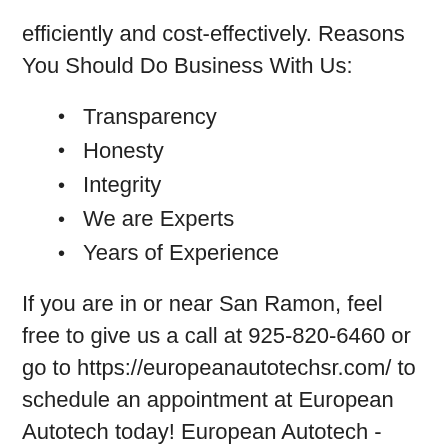efficiently and cost-effectively. Reasons You Should Do Business With Us:
Transparency
Honesty
Integrity
We are Experts
Years of Experience
If you are in or near San Ramon, feel free to give us a call at 925-820-6460 or go to https://europeanautotechsr.com/ to schedule an appointment at European Autotech today! European Autotech - Specializing on All German Makes–Since 1984.